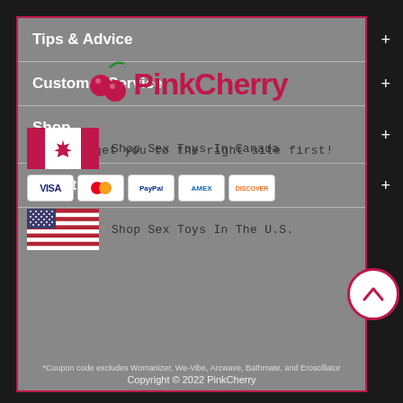[Figure (logo): PinkCherry logo with cherry icon in dark red/magenta color]
Tips & Advice
Customer Service
Let's get you to the right site first!
Shop
About Us
[Figure (illustration): Canadian flag]
Shop Sex Toys In Canada
[Figure (illustration): Payment method icons: VISA, Mastercard, PayPal, AMEX, Discover]
[Figure (illustration): United States flag]
Shop Sex Toys In The U.S.
*Coupon code excludes Womanizer, We-Vibe, Arcwave, Bathmate, and Eroscillator
Copyright © 2022 PinkCherry